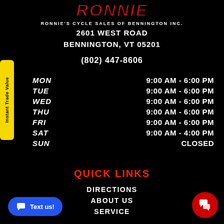[Figure (logo): Ronnie's logo with stylized text in red]
RONNIE'S CYCLE SALES OF BENNINGTON INC.
2601 WEST ROAD
BENNINGTON, VT 05201
(802) 447-8606
| Day | Hours |
| --- | --- |
| MON | 9:00 AM - 6:00 PM |
| TUE | 9:00 AM - 6:00 PM |
| WED | 9:00 AM - 6:00 PM |
| THU | 9:00 AM - 6:00 PM |
| FRI | 9:00 AM - 6:00 PM |
| SAT | 9:00 AM - 4:00 PM |
| SUN | CLOSED |
QUICK LINKS
DIRECTIONS
ABOUT US
SERVICE